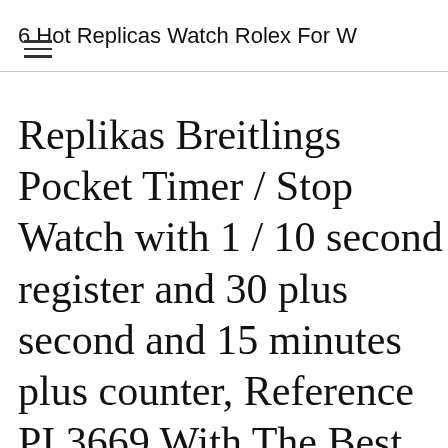6 Hot Replicas Watch Rolex For W
Replikas Breitlings Pocket Timer / Stop Watch with 1 / 10 second register and 30 plus second and 15 minutes plus counter, Reference PI 3669 With The Best